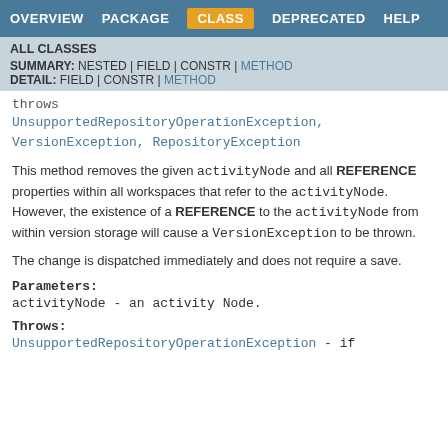OVERVIEW  PACKAGE  CLASS  DEPRECATED  HELP
ALL CLASSES
SUMMARY: NESTED | FIELD | CONSTR | METHOD
DETAIL: FIELD | CONSTR | METHOD
throws
UnsupportedRepositoryOperationException,
VersionException, RepositoryException
This method removes the given activityNode and all REFERENCE properties within all workspaces that refer to the activityNode. However, the existence of a REFERENCE to the activityNode from within version storage will cause a VersionException to be thrown.
The change is dispatched immediately and does not require a save.
Parameters:
activityNode - an activity Node.
Throws:
UnsupportedRepositoryOperationException - if